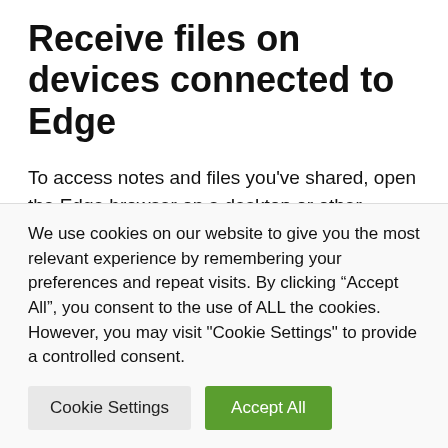Receive files on devices connected to Edge
To access notes and files you've shared, open the Edge browser on a desktop or other mobile browser. On your smartphone, you can access the Drop section from the bottom navigation bar. For now, the feature is also limited to the Canary version of Edge mobile.
We use cookies on our website to give you the most relevant experience by remembering your preferences and repeat visits. By clicking “Accept All”, you consent to the use of ALL the cookies. However, you may visit "Cookie Settings" to provide a controlled consent.